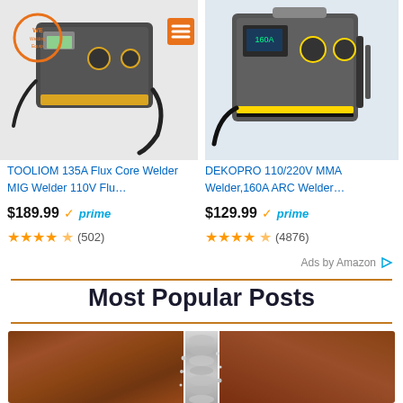[Figure (screenshot): Amazon product ad for TOOLIOM 135A Flux Core Welder MIG Welder 110V with logo and hamburger menu overlay, priced at $189.99 with prime, 4.5 stars (502 reviews)]
[Figure (screenshot): Amazon product ad for DEKOPRO 110/220V MMA Welder 160A ARC Welder, priced at $129.99 with prime, 4.5 stars (4876 reviews)]
TOOLIOM 135A Flux Core Welder MIG Welder 110V Flu…
$189.99 ✓prime
★★★★½ (502)
DEKOPRO 110/220V MMA Welder,160A ARC Welder…
$129.99 ✓prime
★★★★½ (4876)
Ads by Amazon
Most Popular Posts
[Figure (photo): Close-up photo of a metal weld seam on rusty/brown metal surface showing a completed weld bead in the center]